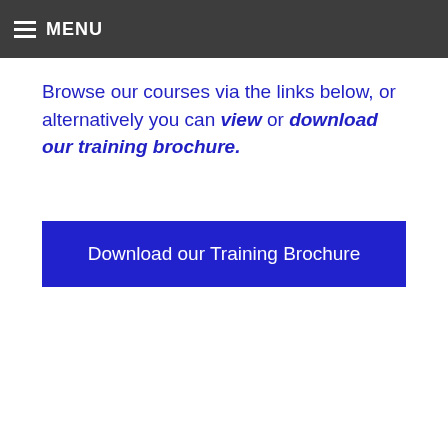MENU
Browse our courses via the links below, or alternatively you can view or download our training brochure.
Download our Training Brochure